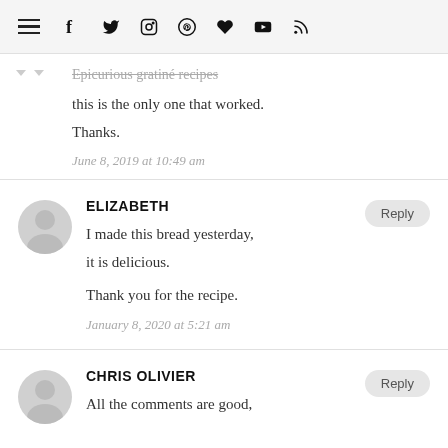hamburger menu icon, social icons: f, twitter, instagram, pinterest, heart, youtube, rss
Epicurious gratiné recipes
this is the only one that worked.
Thanks.
June 8, 2019 at 10:49 am
ELIZABETH
I made this bread yesterday,
it is delicious.
Thank you for the recipe.
January 8, 2020 at 5:21 am
CHRIS OLIVIER
All the comments are good,